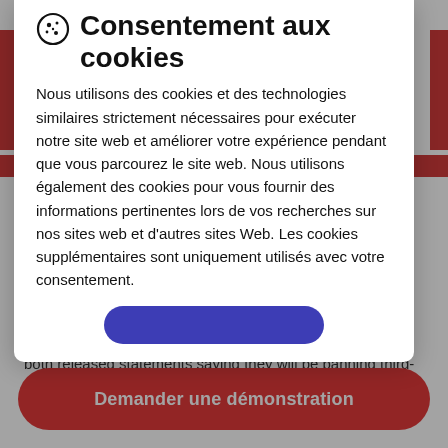Consentement aux cookies
Nous utilisons des cookies et des technologies similaires strictement nécessaires pour exécuter notre site web et améliorer votre expérience pendant que vous parcourez le site web. Nous utilisons également des cookies pour vous fournir des informations pertinentes lors de vos recherches sur nos sites web et d'autres sites Web. Les cookies supplémentaires sont uniquement utilisés avec votre consentement.
both released statements saying they will be banning third-party cookies from Safari and Chrome respectively.
Demander une démonstration